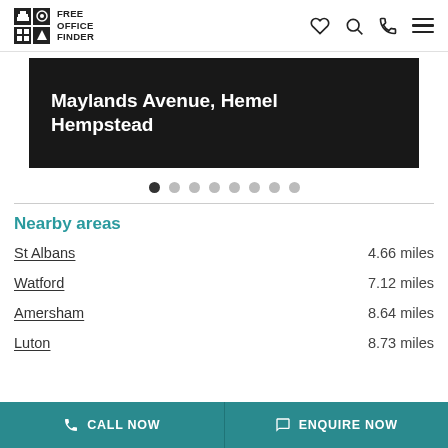FREE OFFICE FINDER
[Figure (screenshot): Dark hero banner showing property address: Maylands Avenue, Hemel Hempstead]
Carousel dots: 1 active, 7 inactive
Nearby areas
St Albans — 4.66 miles
Watford — 7.12 miles
Amersham — 8.64 miles
Luton — 8.73 miles
CALL NOW | ENQUIRE NOW